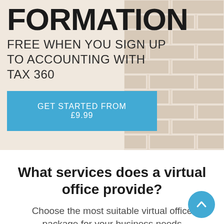FORMATION
FREE WHEN YOU SIGN UP TO ACCOUNTING WITH TAX 360
GET STARTED FROM £9.99
What services does a virtual office provide?
Choose the most suitable virtual office package for your business needs